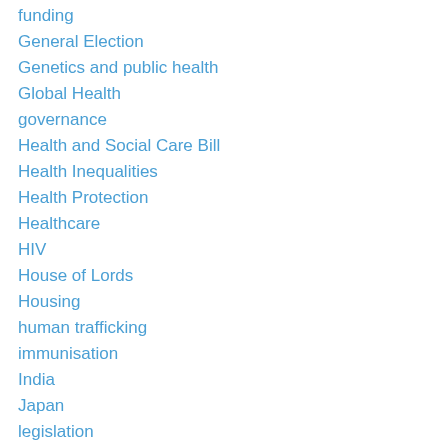funding
General Election
Genetics and public health
Global Health
governance
Health and Social Care Bill
Health Inequalities
Health Protection
Healthcare
HIV
House of Lords
Housing
human trafficking
immunisation
India
Japan
legislation
LGBT
Lifestyles
local authorities